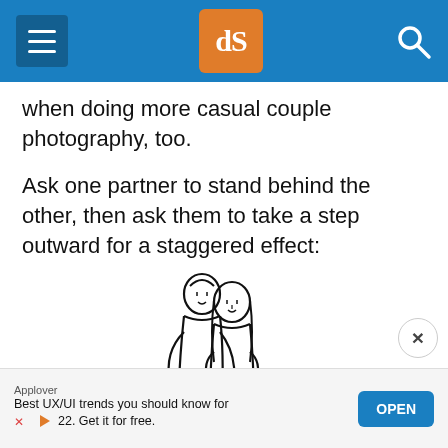dPS (digital photography school) - navigation header
when doing more casual couple photography, too.
Ask one partner to stand behind the other, then ask them to take a step outward for a staggered effect:
[Figure (illustration): Line drawing illustration of a couple standing together in a staggered pose, with one partner standing slightly behind the other, arms wrapped around them.]
Applover
Best UX/UI trends you should know for 2022. Get it for free.